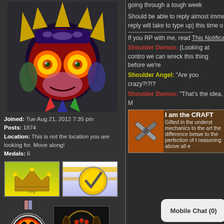[Figure (illustration): Majora's Mask from Legend of Zelda — colorful cartoon mask with spikes, large orange eyes, on dark background]
Joined: Tue Aug 21, 2012 7:35 pm
Posts: 1874
Location: This is not the location you are looking for. Move along!
Medals: 6
[Figure (illustration): Crown medal badge on yellow-green gradient background]
[Figure (illustration): Gold checkmark badge on striped background]
[Figure (illustration): Red and blue circle medal with two figures dancing]
[Figure (illustration): Dark circular badge with paw print and laurel wreath]
Blog: View Blog (0)
going through a tough week
Should be able to reply almost imme reply will take to type up) this time o
If you RP with me, read This Notifica
Shoulder Demon: (Looking at contro we can wreck this thing before we're
Shoulder Angel: "Are you crazy?!?!?
Shoulder Demon: "That's the idea, M
[Figure (illustration): Crossed nails/tools on orange-brown background with text 'I am the CRAFT...' and description about crafting skills]
Mobile Chat (0)